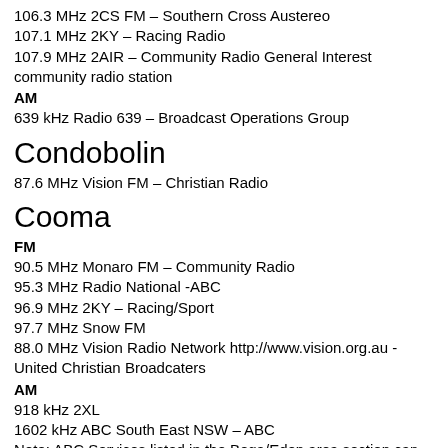106.3 MHz 2CS FM – Southern Cross Austereo
107.1 MHz 2KY – Racing Radio
107.9 MHz 2AIR – Community Radio General Interest community radio station
AM
639 kHz Radio 639 – Broadcast Operations Group
Condobolin
87.6 MHz Vision FM – Christian Radio
Cooma
FM
90.5 MHz Monaro FM – Community Radio
95.3 MHz Radio National -ABC
96.9 MHz 2KY – Racing/Sport
97.7 MHz Snow FM
88.0 MHz Vision Radio Network http://www.vision.org.au -United Christian Broadcaters
AM
918 kHz 2XL
1602 kHz ABC South East NSW – ABC
Note: ABC Services listed in the Bega/Eden area section can also be